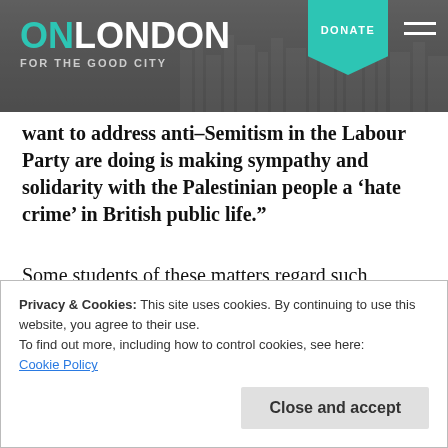[Figure (logo): OnLondon website header with logo 'ON LONDON - FOR THE GOOD CITY', teal DONATE button, hamburger menu, and city skyline background]
want to address anti-Semitism in the Labour Party are doing is making sympathy and solidarity with the Palestinian people a ‘hate crime’ in British public life.”
Some students of these matters regard such observations as unpleasantly typical examples of antisemitic discourse within certain Labour Party circles of late. Those responsible for them self-evidently do not.
Privacy & Cookies: This site uses cookies. By continuing to use this website, you agree to their use.
To find out more, including how to control cookies, see here:
Cookie Policy
reach its own view about what to do about them.